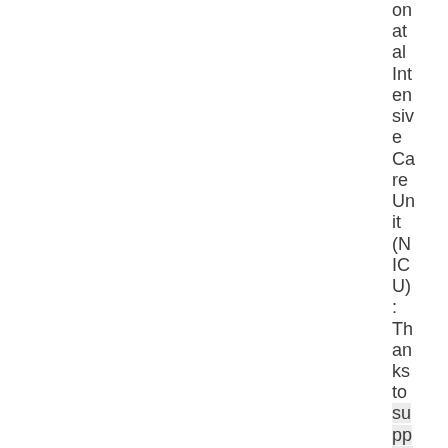on at al Intensive Care Unit (NICU): Thanks to support